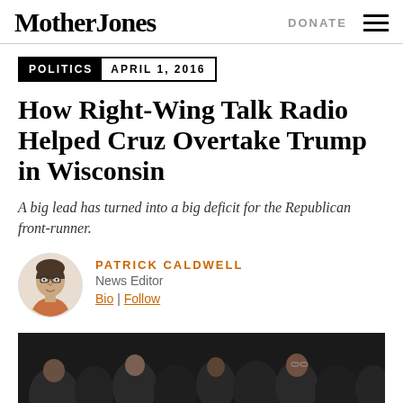Mother Jones | DONATE
POLITICS  APRIL 1, 2016
How Right-Wing Talk Radio Helped Cruz Overtake Trump in Wisconsin
A big lead has turned into a big deficit for the Republican front-runner.
PATRICK CALDWELL
News Editor
Bio | Follow
[Figure (photo): Crowd of people at a political event, dark/night setting]